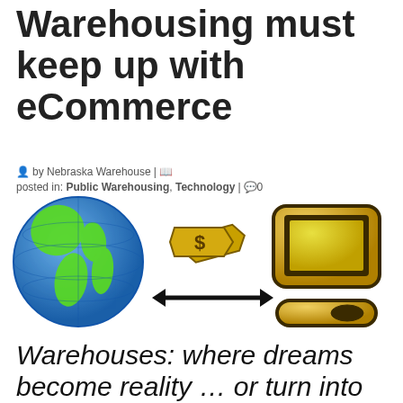Warehousing must keep up with eCommerce
by Nebraska Warehouse | posted in: Public Warehousing, Technology | 0
[Figure (illustration): eCommerce illustration showing a globe (earth), a dollar sign payment icon, and a golden computer/monitor with a double-headed arrow between them, representing online commerce and warehousing]
Warehouses: where dreams become reality … or turn into